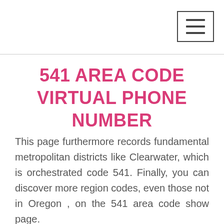541 AREA CODE VIRTUAL PHONE NUMBER
This page furthermore records fundamental metropolitan districts like Clearwater, which is orchestrated code 541. Finally, you can discover more region codes, even those not in Oregon , on the 541 area code show page.